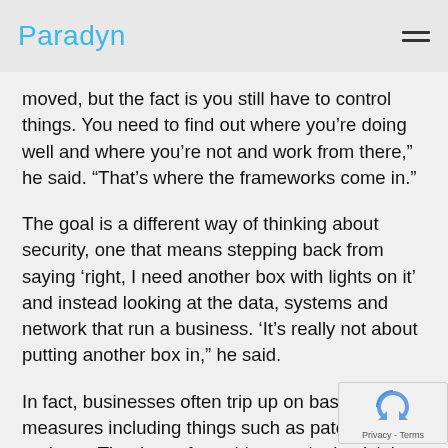Paradyn
moved, but the fact is you still have to control things. You need to find out where you’re doing well and where you’re not and work from there,” he said. “That’s where the frameworks come in.”
The goal is a different way of thinking about security, one that means stepping back from saying ‘right, I need another box with lights on it’ and instead looking at the data, systems and network that run a business. ‘It’s really not about putting another box in,” he said.
In fact, businesses often trip up on basic measures including things such as patching and updates. The threat from this seemingly trivial fault is very real indeed and